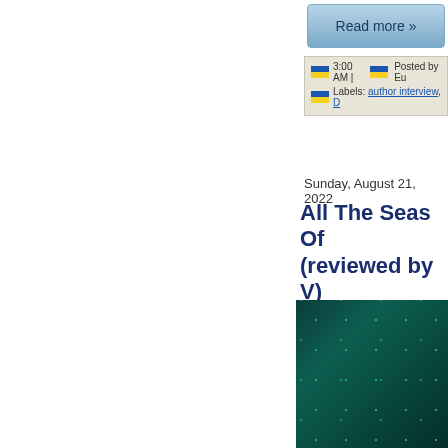Read more »
3:00 AM | Posted by Eu
Labels: author interview, D
Sunday, August 21, 2022
All The Seas Of (reviewed by V)
[Figure (photo): Book cover image with dark teal/green background with small glowing dots or stars, suggesting an underwater or cosmic theme]